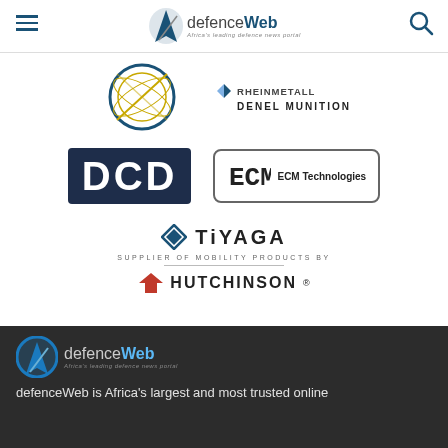defenceWeb — Africa's leading defence news portal
[Figure (logo): Partial circular logo (left) and Denel Munition logo (right) in top content area]
[Figure (logo): DCD logo — dark navy box with white letters DCD]
[Figure (logo): ECM Technologies logo — rounded rectangle border with ECM text]
[Figure (logo): TiYAGA — Supplier of Mobility Products by Hutchinson logo]
[Figure (logo): defenceWeb logo in dark footer — Africa's leading defence news portal]
defenceWeb is Africa's largest and most trusted online